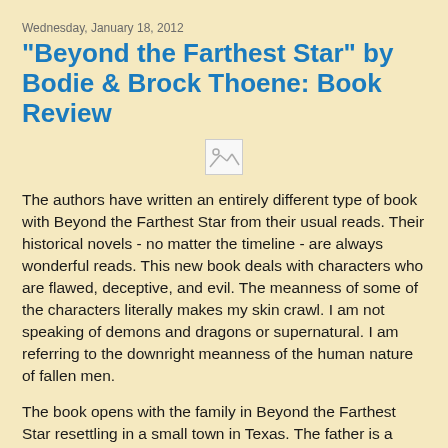Wednesday, January 18, 2012
"Beyond the Farthest Star" by Bodie & Brock Thoene: Book Review
[Figure (other): Broken/missing image placeholder icon]
The authors have written an entirely different type of book with Beyond the Farthest Star from their usual reads.  Their historical novels - no matter the timeline - are always wonderful reads.  This new book  deals with characters who are flawed, deceptive, and evil.  The meanness of some of the characters literally makes my skin crawl.  I am not speaking of demons and dragons or supernatural.  I am referring to the downright meanness of the human nature of fallen men.
The book opens with the family in Beyond the Farthest Star resettling in a small town in Texas.  The father is a preacher who began his career preaching as a young boy.  The daughter (an only child) is plagued by some troubling emotional or mental condition for which she in medicated.